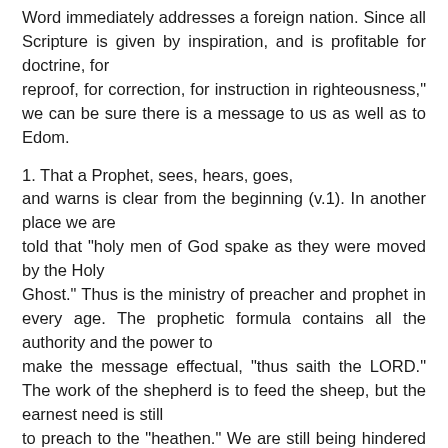Word immediately addresses a foreign nation. Since all Scripture is given by inspiration, and is profitable for doctrine, for reproof, for correction, for instruction in righteousness," we can be sure there is a message to us as well as to Edom.
1. That a Prophet, sees, hears, goes, and warns is clear from the beginning (v.1). In another place we are told that "holy men of God spake as they were moved by the Holy Ghost." Thus is the ministry of preacher and prophet in every age. The prophetic formula contains all the authority and the power to make the message effectual, "thus saith the LORD." The work of the shepherd is to feed the sheep, but the earnest need is still to preach to the "heathen." We are still being hindered and mocked by Edom, who glories in the Church's calamities.
2. Pride deceives its victims. "The